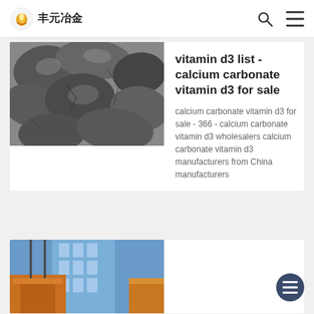丰元冶金
[Figure (photo): Black and grey ore rocks/mineral chunks]
vitamin d3 list - calcium carbonate vitamin d3 for sale
calcium carbonate vitamin d3 for sale - 366 - calcium carbonate vitamin d3 wholesalers calcium carbonate vitamin d3 manufacturers from China manufacturers
[Figure (photo): Industrial facility with orange crane equipment and blue glass building in background]